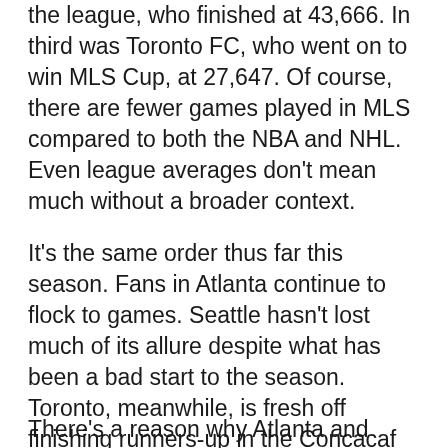the league, who finished at 43,666. In third was Toronto FC, who went on to win MLS Cup, at 27,647. Of course, there are fewer games played in MLS compared to both the NBA and NHL. Even league averages don't mean much without a broader context.
It's the same order thus far this season. Fans in Atlanta continue to flock to games. Seattle hasn't lost much of its allure despite what has been a bad start to the season. Toronto, meanwhile, is fresh off finishing runners-up in the Concacaf Champions League where it averaged 28,108 fans in that competition.
There's a reason why Atlanta and Seattle are